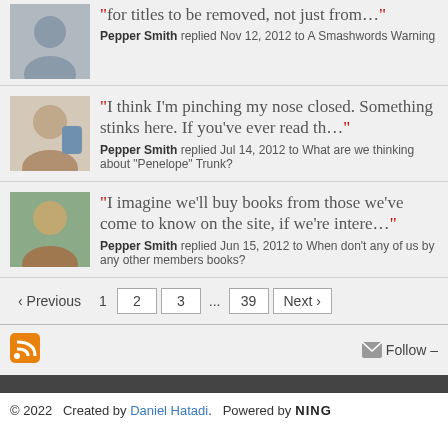"for titles to be removed, not just from…"
Pepper Smith replied Nov 12, 2012 to A Smashwords Warning
"I think I'm pinching my nose closed.  Something stinks here. If you've ever read th…"
Pepper Smith replied Jul 14, 2012 to What are we thinking about "Penelope" Trunk?
"I imagine we'll buy books from those we've come to know on the site, if we're intere…"
Pepper Smith replied Jun 15, 2012 to When don't any of us by any other members books?
‹ Previous  1  2  3  ...  39  Next ›
Follow –
© 2022   Created by Daniel Hatadi.   Powered by NING